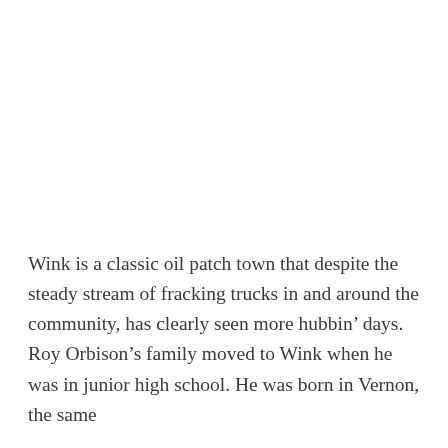Wink is a classic oil patch town that despite the steady stream of fracking trucks in and around the community, has clearly seen more hubbin' days. Roy Orbison's family moved to Wink when he was in junior high school. He was born in Vernon, the same